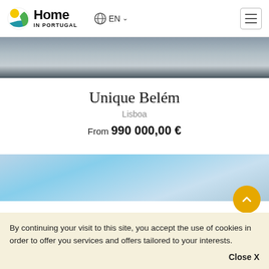Home IN PORTUGAL — EN
[Figure (photo): Partial view of a modern building exterior with architectural elements in grey tones]
Unique Belém
Lisboa
From 990 000,00 €
[Figure (photo): Blue sky photograph, partial view]
By continuing your visit to this site, you accept the use of cookies in order to offer you services and offers tailored to your interests.
Close X